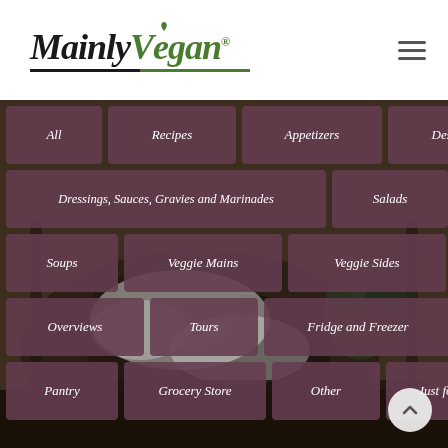MainlyVegan®
[Figure (screenshot): Website navigation menu for MainlyVegan with category buttons: All, Recipes, Appetizers, Desserts, Dressings Sauces Gravies and Marinades, Salads, Soups, Veggie Mains, Veggie Sides, Overviews, Tours, Fridge and Freezer, Pantry, Grocery Store, Other, Just for Fun. Background is a food photo of what appears to be baked goods dusted with powdered sugar.]